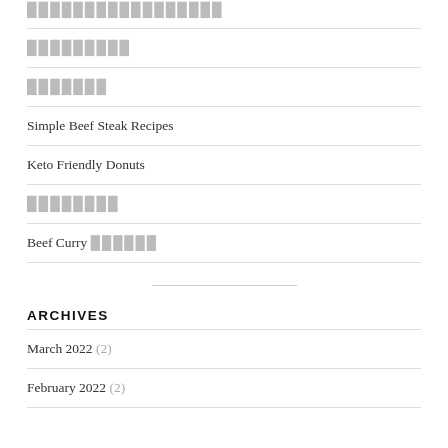​​​​​​​​​​ (redacted)
​​​​​​​ (redacted)
Simple Beef Steak Recipes
Keto Friendly Donuts
​​​​​​​​ (redacted)
Beef Curry ​​​​​​ (redacted mixed)
ARCHIVES
March 2022 (2)
February 2022 (2)